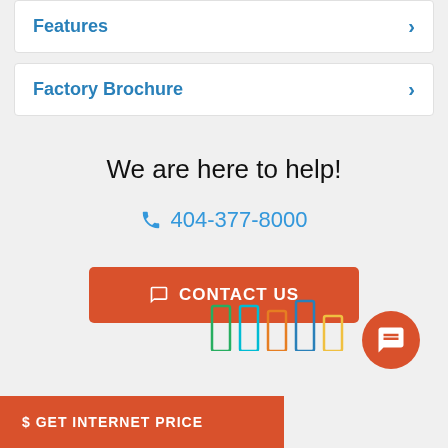Features
Factory Brochure
We are here to help!
404-377-8000
CONTACT US
$ GET INTERNET PRICE